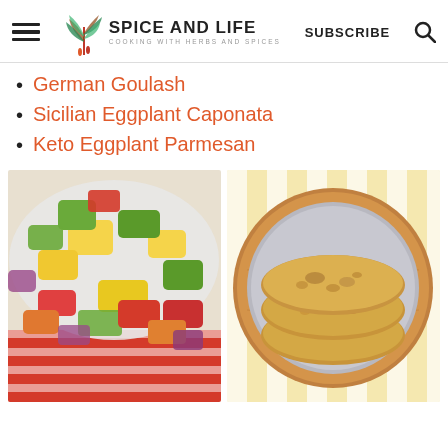SPICE AND LIFE — COOKING WITH HERBS AND SPICES | SUBSCRIBE
German Goulash
Sicilian Eggplant Caponata
Keto Eggplant Parmesan
[Figure (photo): A bowl of colorful roasted vegetables including zucchini, red peppers, yellow squash, and red onions, on a red and white checkered cloth]
[Figure (photo): Several golden-brown flatbreads stacked on a round wooden/metal plate, set on a yellow and white striped cloth]